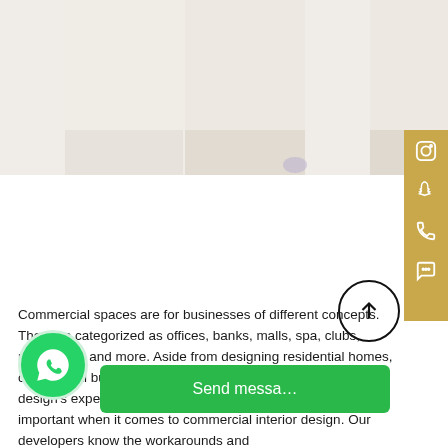[Figure (photo): Interior design images showing light-toned residential/commercial spaces, displayed in two groups at the top of the page]
[Figure (infographic): Gold/tan vertical sidebar on the right with social media icons: Instagram, Snapchat, Phone, Chat]
Commercial spaces are for businesses of different concepts. They are categorized as offices, banks, malls, spa, clubs, restaurants and more. Aside from designing residential homes, commercial businesses are also one of Luxury Antonovich design's expertise. The elegance and the functionality are also important when it comes to commercial interior design. Our developers know the workarounds and
[Figure (other): Circular scroll-to-top button with upward arrow, black outline on white background]
[Figure (other): Green WhatsApp circular button on the left]
[Figure (other): Green 'Send messa...' bar/button]